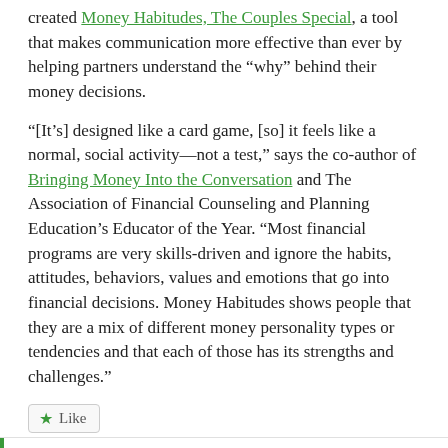created Money Habitudes, The Couples Special, a tool that makes communication more effective than ever by helping partners understand the “why” behind their money decisions.
“[It’s] designed like a card game, [so] it feels like a normal, social activity—not a test,” says the co-author of Bringing Money Into the Conversation and The Association of Financial Counseling and Planning Education’s Educator of the Year. “Most financial programs are very skills-driven and ignore the habits, attitudes, behaviors, values and emotions that go into financial decisions. Money Habitudes shows people that they are a mix of different money personality types or tendencies and that each of those has its strengths and challenges.”
Like
Be the first to like this.
FOUND IN: Family Finances, Planning & Saving